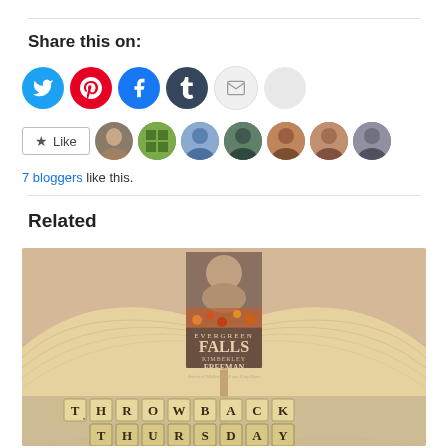Share this on:
[Figure (infographic): Social media share icons: Twitter (blue), Pinterest (red), Facebook (blue), Tumblr (dark blue), Email (gray envelope), More (light gray circle)]
[Figure (infographic): Like button with star icon followed by 7 blogger avatar thumbnails]
7 bloggers like this.
Related
[Figure (photo): Photo of an open book with the book cover 'Evergreen Falls' by Kimberley Freeman propped in the middle, with Scrabble tiles spelling THROWBACK THURSDAY at the bottom]